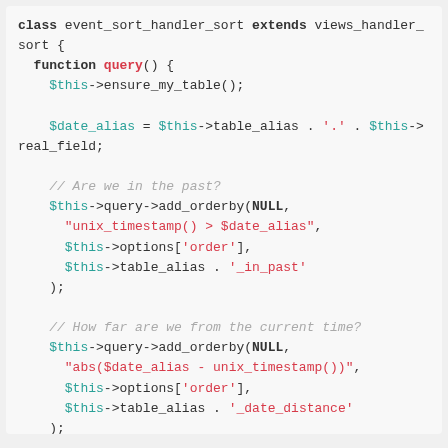[Figure (screenshot): PHP code snippet showing a class event_sort_handler_sort extending views_handler_sort, with a query() function that calls ensure_my_table(), sets $date_alias, then calls add_orderby twice with comments about past time and current time distance.]